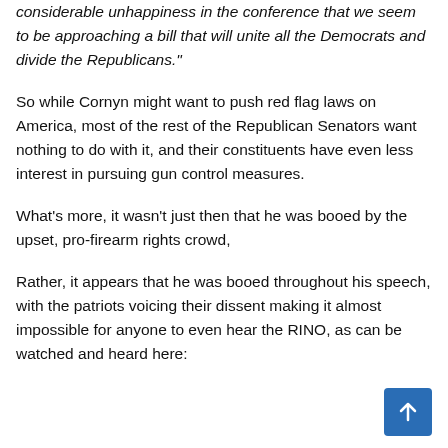considerable unhappiness in the conference that we seem to be approaching a bill that will unite all the Democrats and divide the Republicans."
So while Cornyn might want to push red flag laws on America, most of the rest of the Republican Senators want nothing to do with it, and their constituents have even less interest in pursuing gun control measures.
What's more, it wasn't just then that he was booed by the upset, pro-firearm rights crowd,
Rather, it appears that he was booed throughout his speech, with the patriots voicing their dissent making it almost impossible for anyone to even hear the RINO, as can be watched and heard here: